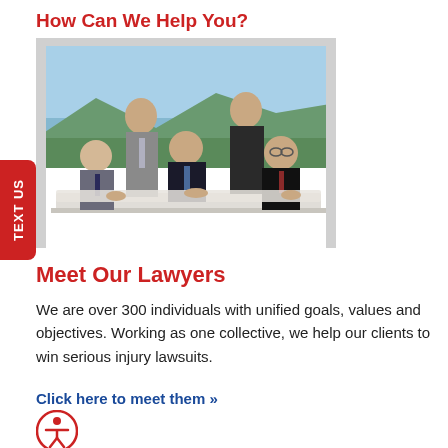How Can We Help You?
[Figure (photo): Group photo of five lawyers (three men seated at a table, one man and one woman standing behind) in a conference room with large windows and a mountain/skyline view in the background.]
Meet Our Lawyers
We are over 300 individuals with unified goals, values and objectives. Working as one collective, we help our clients to win serious injury lawsuits.
Click here to meet them »